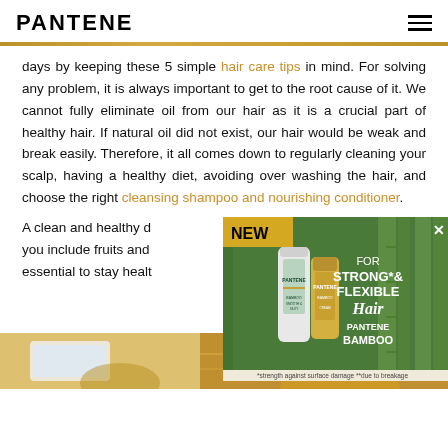PANTENE
days by keeping these 5 simple hair care tips in mind. For solving any problem, it is always important to get to the root cause of it. We cannot fully eliminate oil from our hair as it is a crucial part of healthy hair. If natural oil did not exist, our hair would be weak and break easily. Therefore, it all comes down to regularly cleaning your scalp, having a healthy diet, avoiding over washing the hair, and choose the right cleansing shampoo and nourishing conditioner.
A clean and healthy diet helps your hair grow, so make sure you include fruits and vegetables in your diet. Water is also essential to stay healthy.
[Figure (photo): Pantene Bamboo advertisement banner showing shampoo and conditioner bottles in front of bamboo background with text: NEW, FOR STRONG* & FLEXIBLE Hair, PANTENE BAMBOO, X close button]
*strength against surface damage **due to breakage
[Figure (photo): Bottom strip showing partial Pantene product images with golden/warm tones]